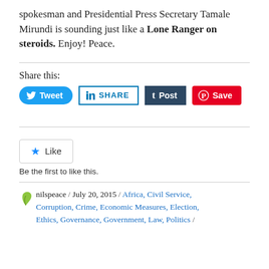spokesman and Presidential Press Secretary Tamale Mirundi is sounding just like a Lone Ranger on steroids. Enjoy! Peace.
Share this:
[Figure (other): Social share buttons: Tweet (Twitter), Share (LinkedIn), Post (Tumblr), Save (Pinterest)]
[Figure (other): Like button widget with star icon and 'Like' label]
Be the first to like this.
nilspeace / July 20, 2015 / Africa, Civil Service, Corruption, Crime, Economic Measures, Election, Ethics, Governance, Government, Law, Politics /